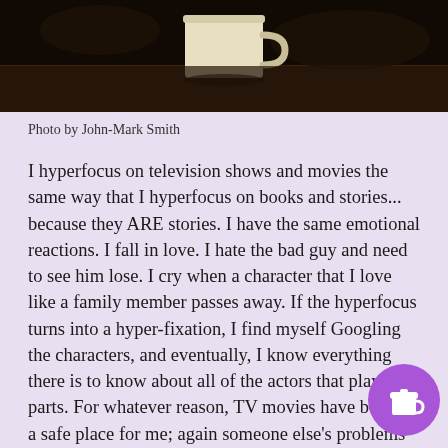[Figure (photo): Photograph of a white coffee mug on a dark wooden surface or shelf, dimly lit background]
Photo by John-Mark Smith
I hyperfocus on television shows and movies the same way that I hyperfocus on books and stories... because they ARE stories. I have the same emotional reactions. I fall in love. I hate the bad guy and need to see him lose. I cry when a character that I love like a family member passes away. If the hyperfocus turns into a hyper-fixation, I find myself Googling the characters, and eventually, I know everything there is to know about all of the actors that play their parts. For whatever reason, TV movies have become a safe place for me; again someone else's problems to get lost in.